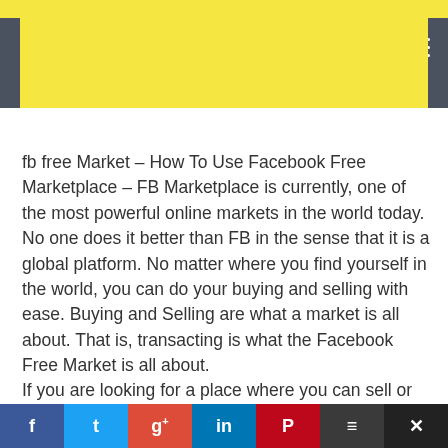fb free Market – How To Use Facebook Free Marketplace – FB Marketplace is currently, one of the most powerful online markets in the world today. No one does it better than FB in the sense that it is a global platform. No matter where you find yourself in the world, you can do your buying and selling with ease. Buying and Selling are what a market is all about. That is, transacting is what the Facebook Free Market is all about.
If you are looking for a place where you can sell or buy anything for free, it's the Facebook Marketplace. There are lots of online platforms in the world that could either be a tool for buying, selling or both. Most of the time, you get to find out that buying is free (all it requires is for you to sign up). For you to sell, it is a different case entirely because you probably would have to pay a fee monthly, to advertise y...
f  t  g+  in  P  ≡  ✕